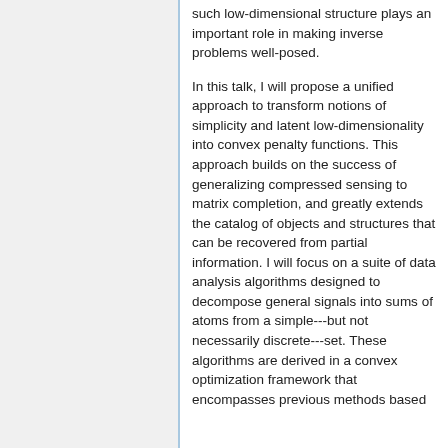such low-dimensional structure plays an important role in making inverse problems well-posed.
In this talk, I will propose a unified approach to transform notions of simplicity and latent low-dimensionality into convex penalty functions. This approach builds on the success of generalizing compressed sensing to matrix completion, and greatly extends the catalog of objects and structures that can be recovered from partial information. I will focus on a suite of data analysis algorithms designed to decompose general signals into sums of atoms from a simple---but not necessarily discrete---set. These algorithms are derived in a convex optimization framework that encompasses previous methods based